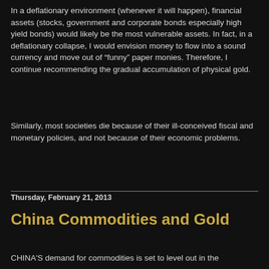In a deflationary environment (whenever it will happen), financial assets (stocks, government and corporate bonds especially high yield bonds) would likely be the most vulnerable assets. In fact, in a deflationary collapse, I would envision money to flow into a sound currency and move out of “funny” paper monies. Therefore, I continue recommending the gradual accumulation of physical gold.
Similarly, most societies die because of their ill-conceived fiscal and monetary policies, and not because of their economic problems.
Thursday, February 21, 2013
China Commodities and Gold
CHINA'S demand for commodities is set to level out in the